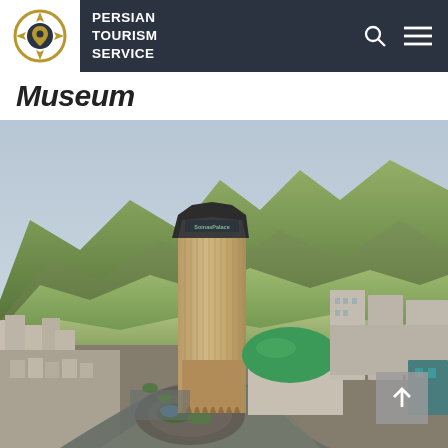Persian Tourism Service
Museum
[Figure (photo): Aerial photograph of Koohnasal Palace (Sabinas Palace) tower and complex in Tehran, Iran, surrounded by mountain landscape and residential buildings with a green dome structure adjacent to the main tower.]